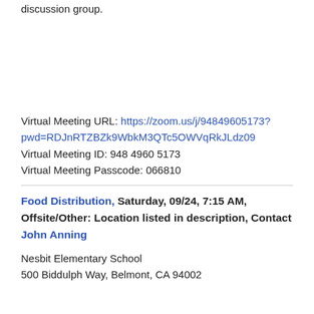discussion group.
Virtual Meeting URL: https://zoom.us/j/94849605173?pwd=RDJnRTZBZk9WbkM3QTc5OWVqRkJLdz09
Virtual Meeting ID: 948 4960 5173
Virtual Meeting Passcode: 066810
Food Distribution, Saturday, 09/24, 7:15 AM, Offsite/Other: Location listed in description, Contact John Anning
Nesbit Elementary School
500 Biddulph Way, Belmont, CA 94002